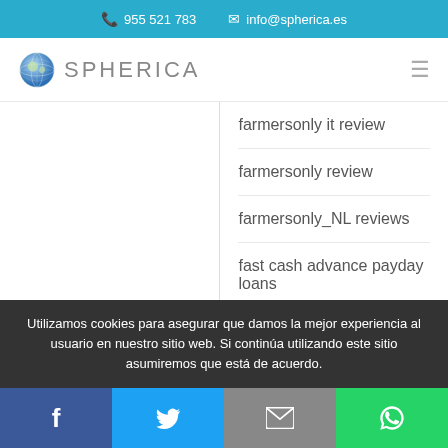955 521 783   info@spherica.es
[Figure (logo): Spherica globe logo with text SPHERICA]
farmersonly it review
farmersonly review
farmersonly_NL reviews
fast cash advance payday loans
fast cash payday loans
fast cash payday loans online
Utilizamos cookies para asegurar que damos la mejor experiencia al usuario en nuestro sitio web. Si continúa utilizando este sitio asumiremos que está de acuerdo.
Facebook  Twitter  Email  WhatsApp